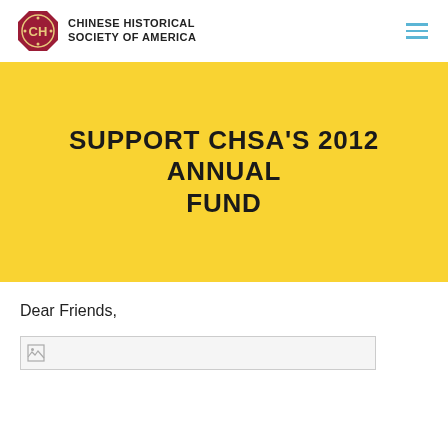CHINESE HISTORICAL SOCIETY OF AMERICA
SUPPORT CHSA'S 2012 ANNUAL FUND
Dear Friends,
[Figure (photo): Broken/unloaded image placeholder]